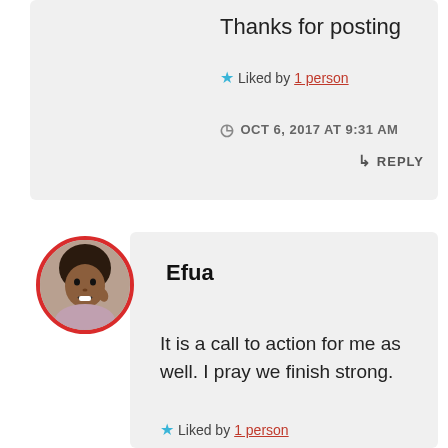Thanks for posting
★ Liked by 1 person
OCT 6, 2017 AT 9:31 AM
↳ REPLY
[Figure (photo): Circular avatar photo of Efua with red border]
Efua
It is a call to action for me as well. I pray we finish strong.
★ Liked by 1 person